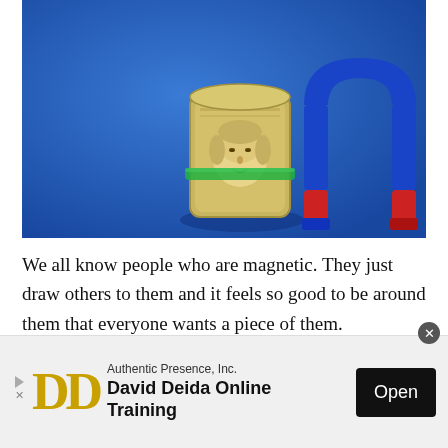[Figure (photo): A roll of US $100 bills secured with a green rubber band, with a horseshoe magnet (red on the bottom half, blue on the top half) attached to it, on a bright blue background.]
We all know people who are magnetic. They just draw others to them and it feels so good to be around them that everyone wants a piece of them.
You want your relationship to money to be like this.
[Figure (other): Advertisement banner: Authentic Presence, Inc. — David Deida Online Training, with 'Open' button and DD logo.]